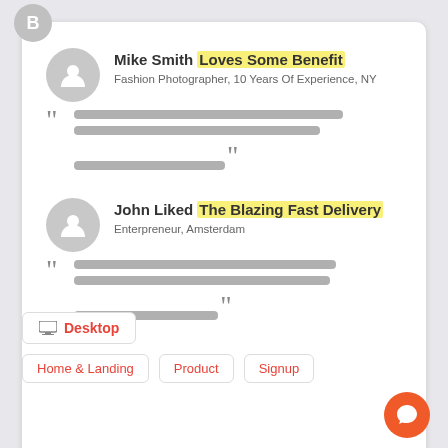[Figure (illustration): Gray circle badge with letter B]
Mike Smith Loves Some Benefit
Fashion Photographer, 10 Years Of Experience, NY
[Figure (illustration): Placeholder text lines with opening and closing quotation marks forming a testimonial quote block]
John Liked The Blazing Fast Delivery
Enterpreneur, Amsterdam
[Figure (illustration): Placeholder text lines with opening and closing quotation marks forming a testimonial quote block]
Desktop
Home & Landing
Product
Signup